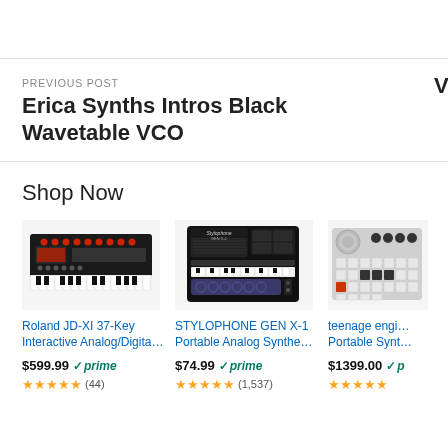PREVIOUS POST
Erica Synths Intros Black Wavetable VCO
Shop Now
[Figure (photo): Roland JD-XI 37-Key Interactive Analog/Digital synthesizer keyboard, black with red controls]
Roland JD-XI 37-Key Interactive Analog/Digita…
$599.99 ✓prime
[Figure (photo): Stylophone GEN X-1 Portable Analog Synthesizer, black rectangular device with speaker grille]
STYLOPHONE GEN X-1 Portable Analog Synthe…
$74.99 ✓prime
[Figure (photo): teenage engineering Portable Synthesizer, white/grey grid device]
teenage engi… Portable Synt…
$1399.00 ✓p